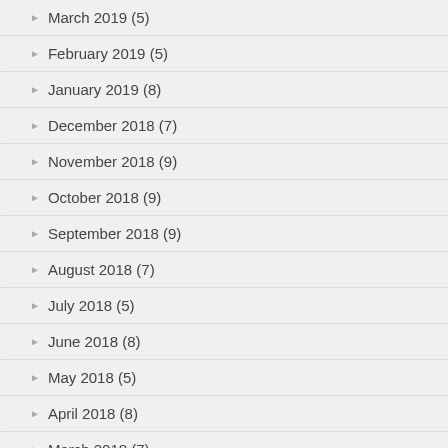March 2019 (5)
February 2019 (5)
January 2019 (8)
December 2018 (7)
November 2018 (9)
October 2018 (9)
September 2018 (9)
August 2018 (7)
July 2018 (5)
June 2018 (8)
May 2018 (5)
April 2018 (8)
March 2018 (7)
February 2018 (8)